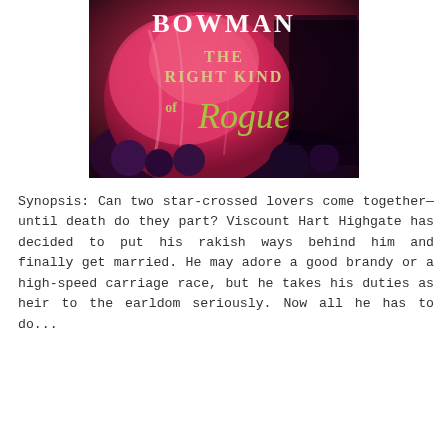[Figure (illustration): Book cover for 'The Right Kind of Rogue' by Bowman, featuring a woman in a pink/magenta dress against a dark floral background, with the title text in cream/gold serif and script fonts.]
Synopsis: Can two star-crossed lovers come together—until death do they part? Viscount Hart Highgate has decided to put his rakish ways behind him and finally get married. He may adore a good brandy or a high-speed carriage race, but he takes his duties as heir to the earldom seriously. Now all he has to do...